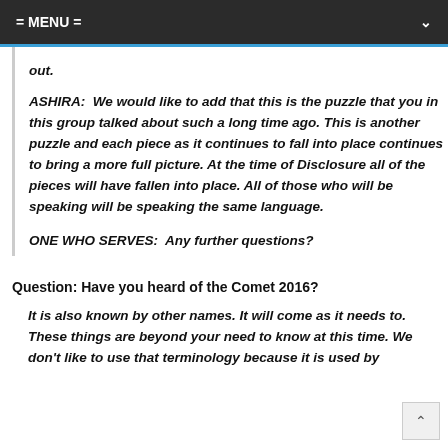= MENU =
out.
ASHIRA:  We would like to add that this is the puzzle that you in this group talked about such a long time ago. This is another puzzle and each piece as it continues to fall into place continues to bring a more full picture. At the time of Disclosure all of the pieces will have fallen into place. All of those who will be speaking will be speaking the same language.
ONE WHO SERVES:  Any further questions?
Question: Have you heard of the Comet 2016?
It is also known by other names. It will come as it needs to. These things are beyond your need to know at this time. We don't like to use that terminology because it is used by